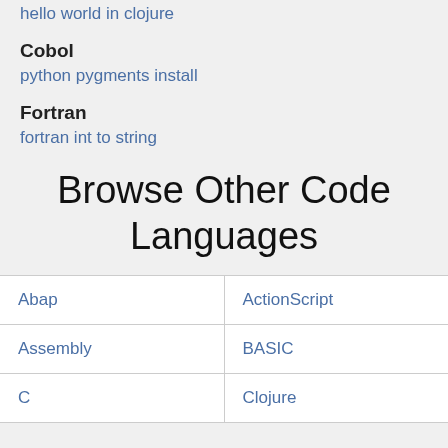hello world in clojure
Cobol
python pygments install
Fortran
fortran int to string
Browse Other Code Languages
| Abap | ActionScript |
| Assembly | BASIC |
| C | Clojure |